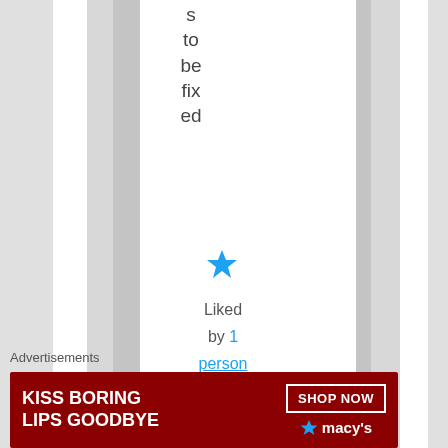s to be fixed
[Figure (illustration): Blue filled star icon (like button)]
Liked by 1 person
[Figure (illustration): Blue outlined star icon in comment area]
Advertisements
[Figure (photo): Macy's advertisement banner: KISS BORING LIPS GOODBYE with SHOP NOW button and Macy's star logo on dark red background]